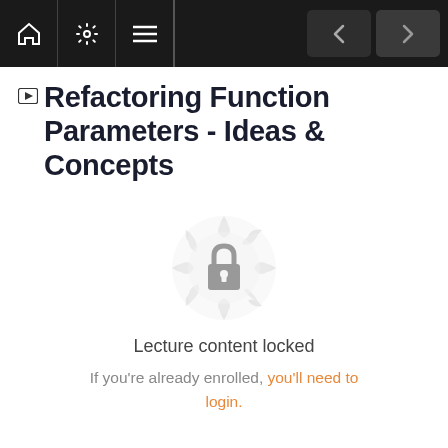Navigation bar with home, settings, menu icons and back/forward arrows
Refactoring Function Parameters - Ideas & Concepts
[Figure (illustration): Decorative starburst/mandala circle with a lock icon in the center, indicating locked content]
Lecture content locked
If you're already enrolled, you'll need to login.